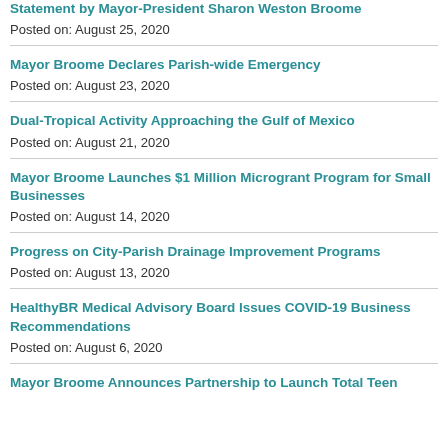Statement by Mayor-President Sharon Weston Broome
Posted on: August 25, 2020
Mayor Broome Declares Parish-wide Emergency
Posted on: August 23, 2020
Dual-Tropical Activity Approaching the Gulf of Mexico
Posted on: August 21, 2020
Mayor Broome Launches $1 Million Microgrant Program for Small Businesses
Posted on: August 14, 2020
Progress on City-Parish Drainage Improvement Programs
Posted on: August 13, 2020
HealthyBR Medical Advisory Board Issues COVID-19 Business Recommendations
Posted on: August 6, 2020
Mayor Broome Announces Partnership to Launch Total Teen